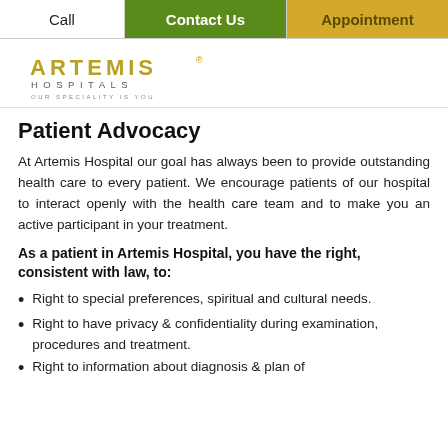Call | Contact Us | Appointment
[Figure (logo): Artemis Hospitals logo with tagline OUR SPECIALITY IS YOU]
Patient Advocacy
At Artemis Hospital our goal has always been to provide outstanding health care to every patient. We encourage patients of our hospital to interact openly with the health care team and to make you an active participant in your treatment.
As a patient in Artemis Hospital, you have the right, consistent with law, to:
Right to special preferences, spiritual and cultural needs.
Right to have privacy & confidentiality during examination, procedures and treatment.
Right to information about diagnosis & plan of